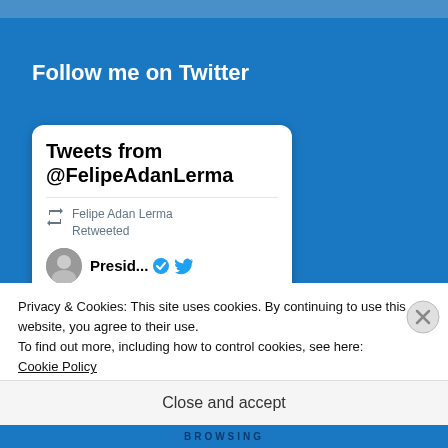Follow me on Twitter
[Figure (screenshot): Twitter widget showing 'Tweets from @FelipeAdanLerma' with a retweet by Felipe Adan Lerma and a profile row showing 'Presid...' with a verified badge and Twitter bird icon]
Privacy & Cookies: This site uses cookies. By continuing to use this website, you agree to their use.
To find out more, including how to control cookies, see here:
Cookie Policy
Close and accept